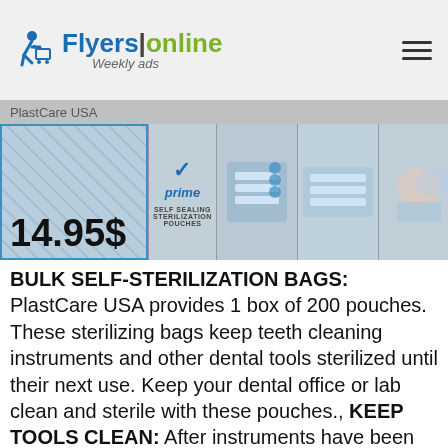FlyersOnline - Weekly ads
[Figure (screenshot): Product images strip showing sterilization bags with price tag 14.95$, Amazon Prime badge, and multiple product photos]
BULK SELF-STERILIZATION BAGS: PlastCare USA provides 1 box of 200 pouches. These sterilizing bags keep teeth cleaning instruments and other dental tools sterilized until their next use. Keep your dental office or lab clean and sterile with these pouches., KEEP TOOLS CLEAN: After instruments have been cleaned, they must be placed in sterile bags or pouches to ensure that they remain sterile until their next use. This is true for nail technicians, dentists, and other medical professionals. Knowing you’re getting clean and sterile instruments is a very calming thought when sitting in the dentist chair., EFFECTIVE INFECTION CONTROL: These self-sterilization pouches help ensure the safety of staff members and dental patients alike., MAINTAIN